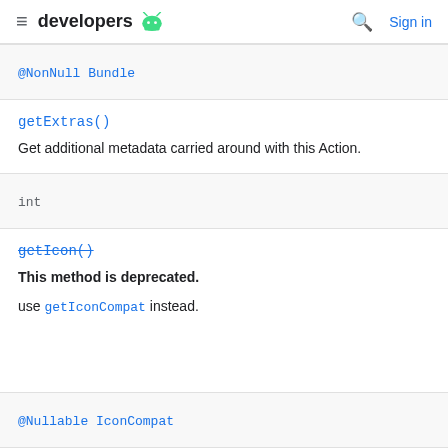developers [android icon] — Search | Sign in
@NonNull Bundle
getExtras()
Get additional metadata carried around with this Action.
int
getIcon()
This method is deprecated.
use getIconCompat instead.
@Nullable IconCompat